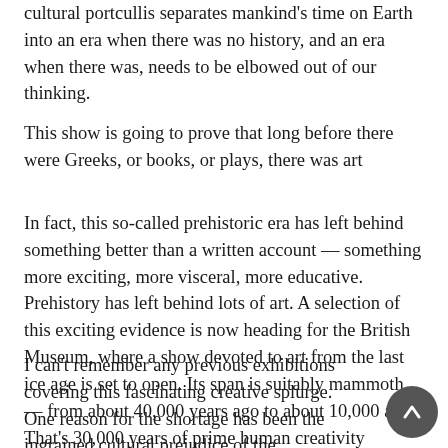cultural portcullis separates mankind's time on Earth into an era when there was no history, and an era when there was, needs to be elbowed out of our thinking.
This show is going to prove that long before there were Greeks, or books, or plays, there was art
In fact, this so-called prehistoric era has left behind something better than a written account — something more exciting, more visceral, more educative. Prehistory has left behind lots of art. A selection of this exciting evidence is now heading for the British Museum, where a show devoted to art from the last ice age is set to open. Its span is suitably mammoth — from about 40,000 years ago to about 10,000 ago. That's 30,000 years of prime human creativity handily précised and framed. It's a mouthwatering prospect, and also a rare one.
I can't remember any previous exhibitions covering this fascinating creative splurge. One reason for the shortage has been the ingrained cultural prejudice of the civilisation snobs.